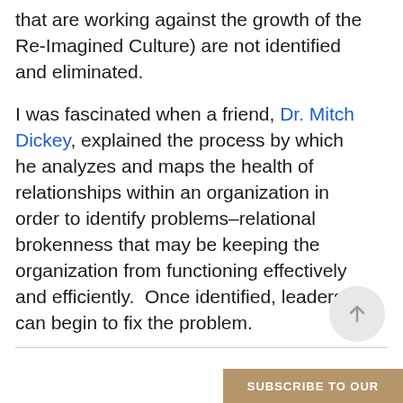that are working against the growth of the Re-Imagined Culture) are not identified and eliminated.
I was fascinated when a friend, Dr. Mitch Dickey, explained the process by which he analyzes and maps the health of relationships within an organization in order to identify problems–relational brokenness that may be keeping the organization from functioning effectively and efficiently.  Once identified, leaders can begin to fix the problem.